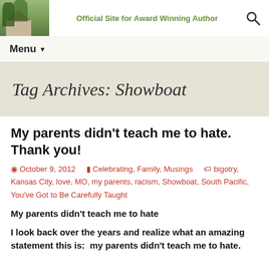Official Site for Award Winning Author
Menu
Tag Archives: Showboat
My parents didn't teach me to hate. Thank you!
October 9, 2012   Celebrating, Family, Musings   bigotry, Kansas City, love, MO, my parents, racism, Showboat, South Pacific, You've Got to Be Carefully Taught
My parents didn't teach me to hate
I look back over the years and realize what an amazing statement this is:  my parents didn't teach me to hate.